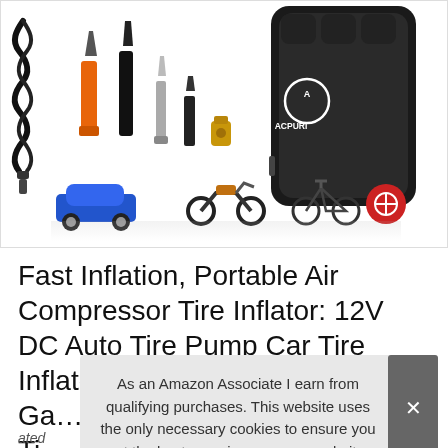[Figure (photo): Product photo of ACPURI portable air compressor tire inflator with accessories: coiled power cable, multiple nozzle adapters (orange, black, silver), valve caps, and a gold connector. Below are four vehicle icons: blue car, motorcycle, bicycle, and soccer ball/sports items. The black device with ACPURI logo is shown on the right.]
Fast Inflation, Portable Air Compressor Tire Inflator: 12V DC Auto Tire Pump Car Tire Inflator with Digital Pressure Ga... Ti...
As an Amazon Associate I earn from qualifying purchases. This website uses the only necessary cookies to ensure you get the best experience on our website. More information